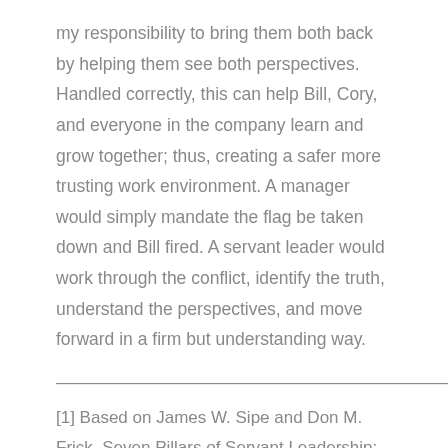my responsibility to bring them both back by helping them see both perspectives. Handled correctly, this can help Bill, Cory, and everyone in the company learn and grow together; thus, creating a safer more trusting work environment. A manager would simply mandate the flag be taken down and Bill fired. A servant leader would work through the conflict, identify the truth, understand the perspectives, and move forward in a firm but understanding way.
——————————————————————
[1] Based on James W. Sipe and Don M. Frick. Seven Pillars of Servant Leadership: Practicing the Wisdom of Leading by Serving, 2015, Paulist Press